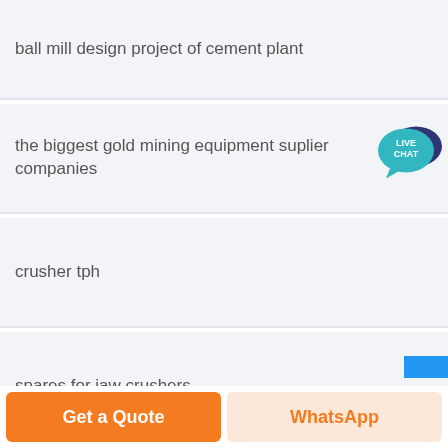ball mill design project of cement plant
the biggest gold mining equipment suplier companies
crusher tph
spares for jaw crushers
dolomite and lime stone crushers suppliers
[Figure (other): Live Chat speech bubble badge icon in teal/dark blue]
Get a Quote
WhatsApp